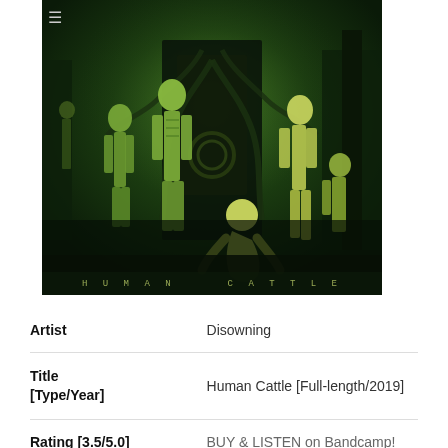[Figure (illustration): Album cover art for 'Human Cattle' by Disowning. Dark green horror/death metal themed artwork showing skeletal humanoid figures around a large mechanical throne-like structure, with tentacles/cables. Text at bottom reads 'HUMAN CATTLE' in spaced letters. A hamburger menu icon (≡) appears at top left of the image.]
| Artist | Disowning |
| Title
[Type/Year] | Human Cattle [Full-length/2019] |
| Rating [3.5/5.0] | BUY & LISTEN on Bandcamp! |